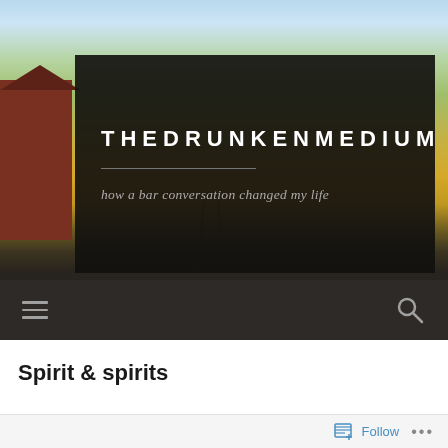[Figure (screenshot): Website header hero image of a rural farm scene with golden fields, a red barn on the left, and a light blue sky. A dark semi-transparent overlay box contains the site title and tagline.]
THEDRUNKENMEDIUM
how a bar conversation changed my life
[Figure (infographic): Dark navigation bar with hamburger menu icon on the left and a search magnifying glass icon on the right.]
Spirit & spirits
Follow
...